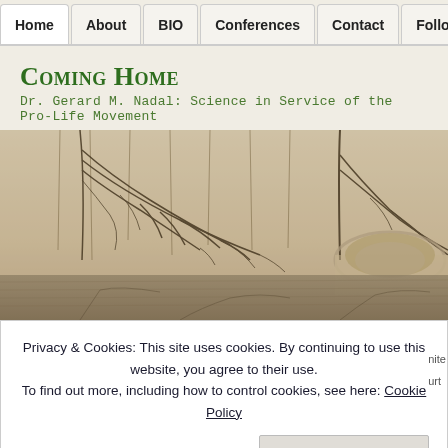Home | About | BIO | Conferences | Contact | Follow Ge
Coming Home
Dr. Gerard M. Nadal: Science in Service of the Pro-Life Movement
[Figure (photo): A misty, sepia-toned landscape photograph showing bare winter trees with drooping branches reflected in still water, with a stone bridge arch visible in the background through the fog.]
Privacy & Cookies: This site uses cookies. By continuing to use this website, you agree to their use.
To find out more, including how to control cookies, see here: Cookie Policy
Close and accept